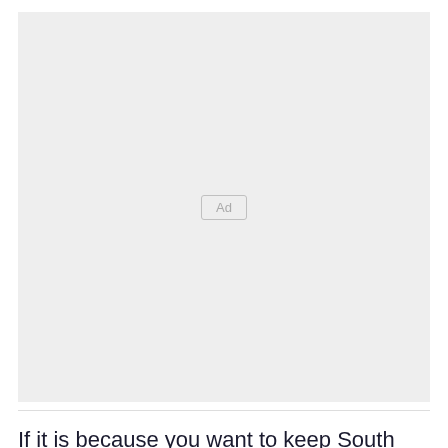[Figure (other): Advertisement placeholder box with 'Ad' label centered in a light gray rectangle]
If it is because you want to keep South African assets or retain your South African passport, there is misinformation – both of